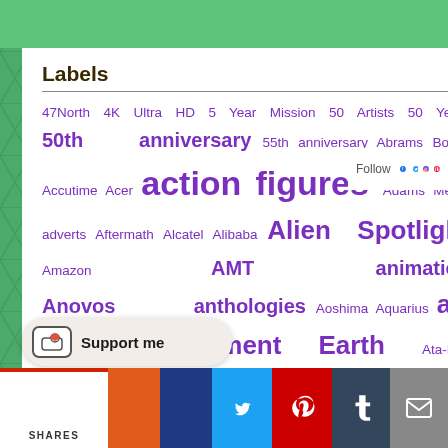Labels
47North 4K Ultra HD 5 Year Mission 50 Artists 50 Years 50th anniversary 55th anniversary Abrams Books Accutime Acer action figures Adams Media adverts Aftermath Alcatel Alibaba Alien Spotlight Amazon AMT animation Anovos anthologies Aoshima Aquarius art Asmodee Assignment Earth Ata-Boy attractions audiobooks Aurum Press Aventine BAM Bandai Bantam Barnes and Noble Baronet bearbricks becker and mayer behind the
[Figure (screenshot): Follow section with Facebook, Twitter, Instagram, Pinterest icons]
[Figure (photo): Calendar image showing January with colorful animated characters]
While February is lower resoluti...
[Figure (infographic): Support me Ko-fi button and social share bar with Twitter, Pinterest, Tumblr, Email icons and SHARES label]